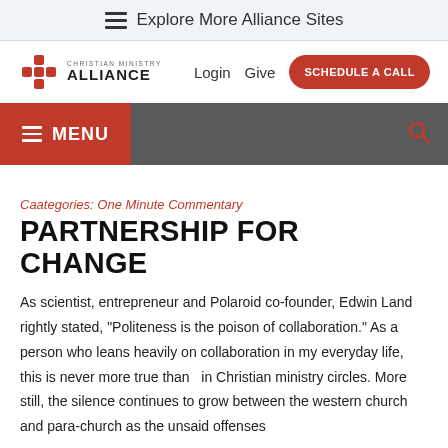Explore More Alliance Sites
[Figure (logo): Christian Ministry Alliance logo with cross symbol]
Login  Give  SCHEDULE A CALL
MENU
Caategories: One Minute Commentary
PARTNERSHIP FOR CHANGE
As scientist, entrepreneur and Polaroid co-founder, Edwin Land rightly stated, “Politeness is the poison of collaboration.” As a person who leans heavily on collaboration in my everyday life, this is never more true than  in Christian ministry circles. More still, the silence continues to grow between the western church and para-church as the unsaid offenses...